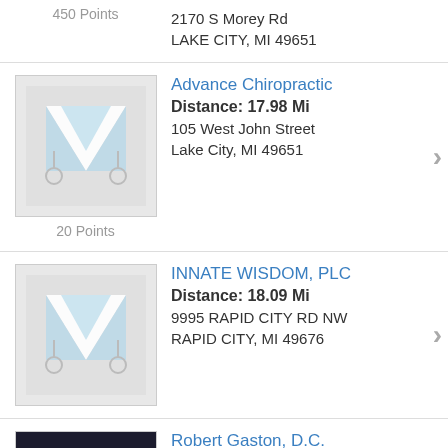450 Points
2170 S Morey Rd
LAKE CITY, MI 49651
[Figure (illustration): Placeholder chiropractic logo with blue diamond/V shape and stethoscopes on gray background]
20 Points
Advance Chiropractic
Distance: 17.98 Mi
105 West John Street
Lake City, MI 49651
[Figure (illustration): Placeholder chiropractic logo with blue diamond/V shape and stethoscopes on gray background]
INNATE WISDOM, PLC
Distance: 18.09 Mi
9995 RAPID CITY RD NW
RAPID CITY, MI 49676
[Figure (photo): Professional headshot of Robert Gaston D.C., a man in dark suit with tie, smiling]
450 Points
Robert Gaston, D.C.
Gaston Family Chiropractic
Distance: 18.47 Mi
★★★★☆
625 2nd St.